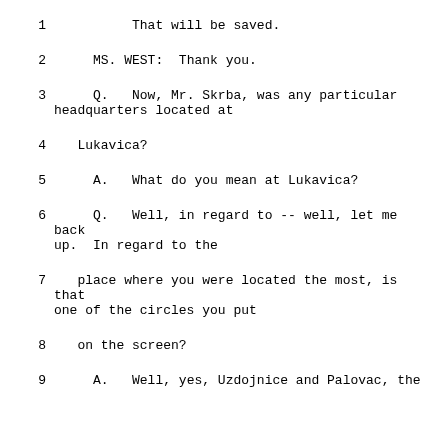1    That will be saved.
2    MS. WEST:  Thank you.
3    Q.   Now, Mr. Skrba, was any particular headquarters located at
4    Lukavica?
5    A.   What do you mean at Lukavica?
6    Q.   Well, in regard to -- well, let me back up.  In regard to the
7    place where you were located the most, is that one of the circles you put
8    on the screen?
9    A.   Well, yes, Uzdojnice and Palovac, the